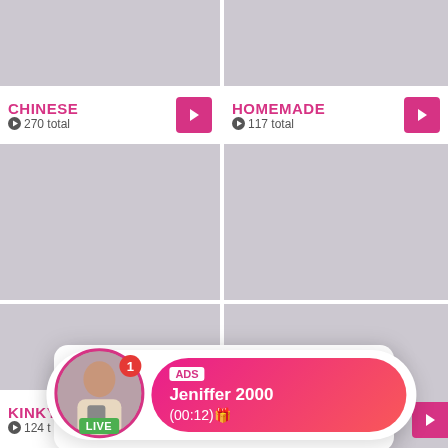[Figure (screenshot): Adult content website grid layout showing category thumbnails. Top-left: CHINESE category with 270 total. Top-right: HOMEMADE category with 117 total. Bottom-left: KINKY category with 124 total. An advertisement popup for 'in case of quarantine' overlays the center. A notification popup for 'Jeniffer 2000 ADS (00:12)' with LIVE badge overlays the bottom.]
CHINESE
270 total
HOMEMADE
117 total
in case of quarantine
Advertisement
tap here to view
KINKY
124 t
ADS
Jeniffer 2000
(00:12)🎁
LIVE